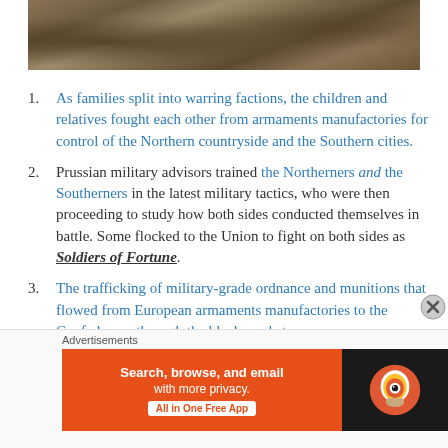[Figure (photo): Painting of a Civil War battle scene with soldiers fighting in a field]
As families split into warring factions, the children and relatives fought each other from armaments manufactories for control of the Northern countryside and the Southern cities.
Prussian military advisors trained the Northerners and the Southerners in the latest military tactics, who were then proceeding to study how both sides conducted themselves in battle. Some flocked to the Union to fight on both sides as Soldiers of Fortune.
The trafficking of military-grade ordnance and munitions that flowed from European armaments manufactories to the Confederacy through the black market.
Advertisements
[Figure (screenshot): DuckDuckGo advertisement banner: Search, browse, and email with more privacy. All in One Free App]